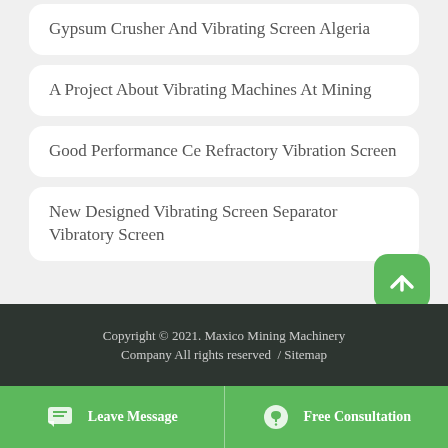Gypsum Crusher And Vibrating Screen Algeria
A Project About Vibrating Machines At Mining
Good Performance Ce Refractory Vibration Screen
New Designed Vibrating Screen Separator Vibratory Screen
Copyright © 2021. Maxico Mining Machinery Company All rights reserved  / Sitemap
Leave Message   Free Consultation